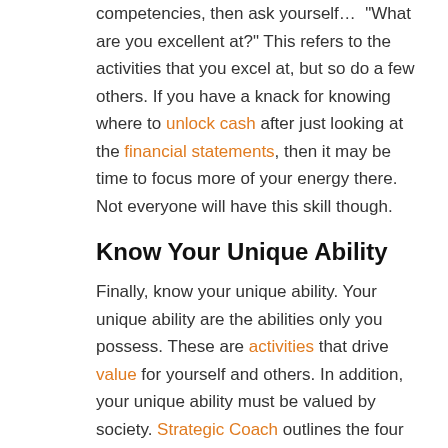competencies, then ask yourself... "What are you excellent at?" This refers to the activities that you excel at, but so do a few others. If you have a knack for knowing where to unlock cash after just looking at the financial statements, then it may be time to focus more of your energy there. Not everyone will have this skill though.
Know Your Unique Ability
Finally, know your unique ability. Your unique ability are the abilities only you possess. These are activities that drive value for yourself and others. In addition, your unique ability must be valued by society. Strategic Coach outlines the four areas that you need to look at when identifying your unique ability: